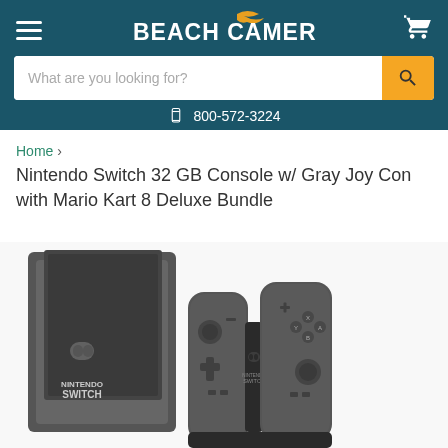Beach Camera | 800-572-3224
What are you looking for?
Home > Nintendo Switch 32 GB Console w/ Gray Joy Con with Mario Kart 8 Deluxe Bundle
Nintendo Switch 32 GB Console w/ Gray Joy Con with Mario Kart 8 Deluxe Bundle
[Figure (photo): Nintendo Switch 32 GB console with gray Joy-Con controllers in dock, showing the tablet with Nintendo Switch branding and two gray Joy-Con controllers attached to a grip]